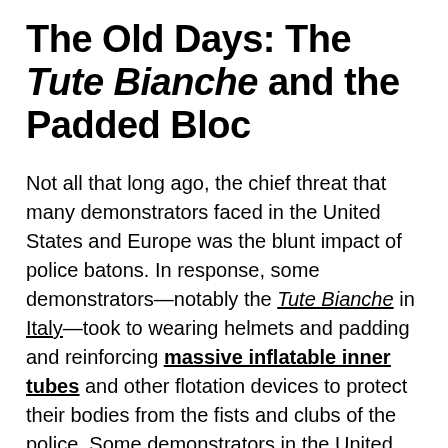The Old Days: The Tute Bianche and the Padded Bloc
Not all that long ago, the chief threat that many demonstrators faced in the United States and Europe was the blunt impact of police batons. In response, some demonstrators—notably the Tute Bianche in Italy—took to wearing helmets and padding and reinforcing massive inflatable inner tubes and other flotation devices to protect their bodies from the fists and clubs of the police. Some demonstrators in the United States embraced these tactics, which came to be known as "padded bloc." A